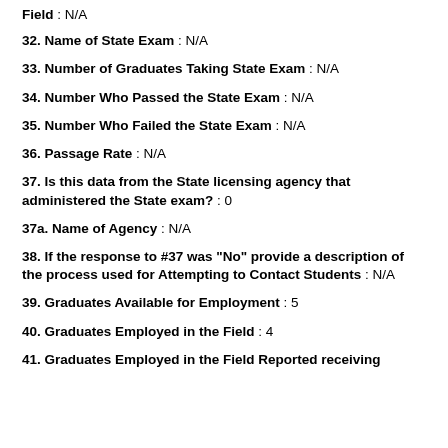Field : N/A
32. Name of State Exam : N/A
33. Number of Graduates Taking State Exam : N/A
34. Number Who Passed the State Exam : N/A
35. Number Who Failed the State Exam : N/A
36. Passage Rate : N/A
37. Is this data from the State licensing agency that administered the State exam? : 0
37a. Name of Agency : N/A
38. If the response to #37 was "No" provide a description of the process used for Attempting to Contact Students : N/A
39. Graduates Available for Employment : 5
40. Graduates Employed in the Field : 4
41. Graduates Employed in the Field Reported receiving